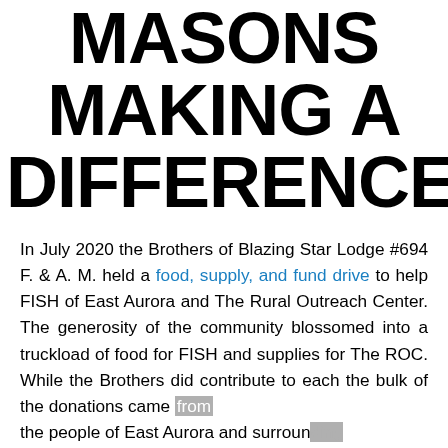MASONS MAKING A DIFFERENCE
In July 2020 the Brothers of Blazing Star Lodge #694 F. & A. M. held a food, supply, and fund drive to help FISH of East Aurora and The Rural Outreach Center. The generosity of the community blossomed into a truckload of food for FISH and supplies for The ROC. While the Brothers did contribute to each the bulk of the donations came from the people of East Aurora and surrounding areas.